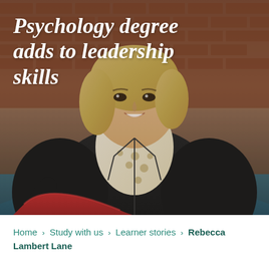[Figure (photo): A woman with blonde hair wearing a black leather jacket and a white and gold patterned scarf, sitting on a teal couch holding a red folder/binder, smiling at the camera. Background shows a brick wall. White italic bold text overlaid reads 'Psychology degree adds to leadership skills'.]
Psychology degree adds to leadership skills
Home > Study with us > Learner stories > Rebecca Lambert Lane